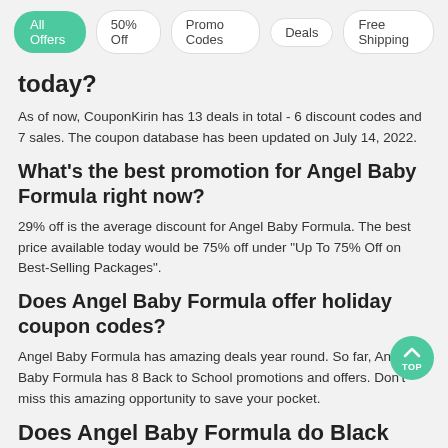All Offers | 50% Off | Promo Codes | Deals | Free Shipping
today?
As of now, CouponKirin has 13 deals in total - 6 discount codes and 7 sales. The coupon database has been updated on July 14, 2022.
What's the best promotion for Angel Baby Formula right now?
29% off is the average discount for Angel Baby Formula. The best price available today would be 75% off under "Up To 75% Off on Best-Selling Packages".
Does Angel Baby Formula offer holiday coupon codes?
Angel Baby Formula has amazing deals year round. So far, Angel Baby Formula has 8 Back to School promotions and offers. Don't miss this amazing opportunity to save your pocket.
Does Angel Baby Formula do Black Friday?